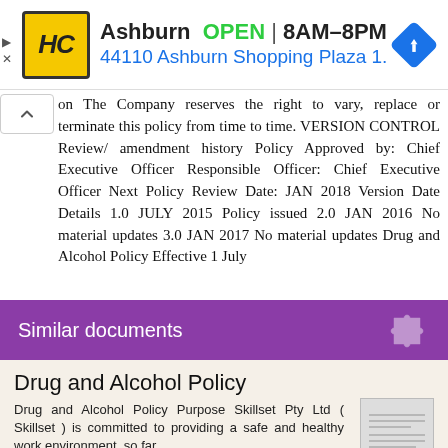[Figure (screenshot): Advertisement banner for Ashburn HC store with logo, OPEN 8AM-8PM, address 44110 Ashburn Shopping Plaza 1., and navigation icon]
on The Company reserves the right to vary, replace or terminate this policy from time to time. VERSION CONTROL Review/ amendment history Policy Approved by: Chief Executive Officer Responsible Officer: Chief Executive Officer Next Policy Review Date: JAN 2018 Version Date Details 1.0 JULY 2015 Policy issued 2.0 JAN 2016 No material updates 3.0 JAN 2017 No material updates Drug and Alcohol Policy Effective 1 July
Similar documents
Drug and Alcohol Policy
Drug and Alcohol Policy Purpose Skillset Pty Ltd ( Skillset ) is committed to providing a safe and healthy work environment, so far